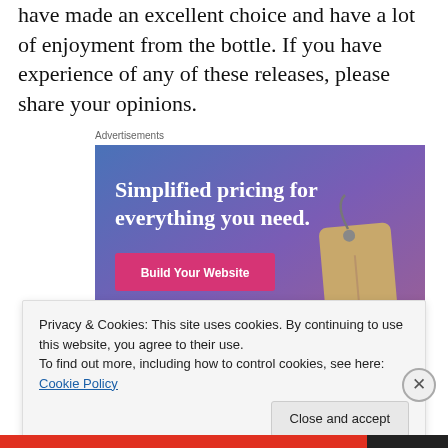have made an excellent choice and have a lot of enjoyment from the bottle. If you have experience of any of these releases, please share your opinions.
Advertisements
[Figure (illustration): Advertisement banner with blue-to-purple gradient background. Text reads 'Simplified pricing for everything you need.' with a pink 'Build Your Website' button and a tan luggage tag graphic on the right.]
Privacy & Cookies: This site uses cookies. By continuing to use this website, you agree to their use.
To find out more, including how to control cookies, see here: Cookie Policy
Close and accept